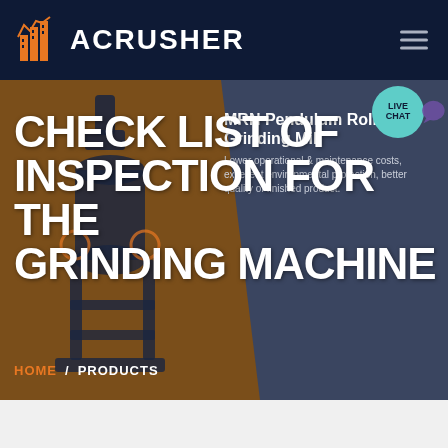ACRUSHER
CHECK LIST OF INSPECTION FOR THE GRINDING MACHINE
MRN Pendulum Roller Grinding Mill
Lower operational & maintenance costs, excellent environmental protection, better quality of finished product.
HOME / PRODUCTS